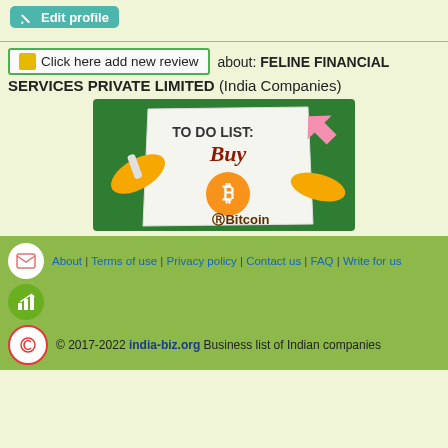[Figure (screenshot): Edit profile button with blue background and pencil icon]
[Figure (illustration): Bitcoin 'To Do List: Buy Bitcoin' cartoon illustration with yellow characters on green background]
Click here add new review   about: FELINE FINANCIAL SERVICES PRIVATE LIMITED (India Companies)
About | Terms of use | Privacy policy | Contact us | FAQ | Write for us
© 2017-2022 india-biz.org Business list of Indian companies